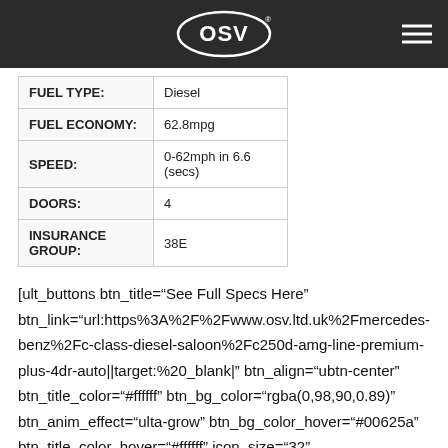[Figure (logo): OSV logo on dark header bar with hamburger menu icon]
| FUEL TYPE: | Diesel |
| FUEL ECONOMY: | 62.8mpg |
| SPEED: | 0-62mph in 6.6 (secs) |
| DOORS: | 4 |
| INSURANCE GROUP: | 38E |
[ult_buttons btn_title="See Full Specs Here" btn_link="url:https%3A%2F%2Fwww.osv.ltd.uk%2Fmercedes-benz%2Fc-class-diesel-saloon%2Fc250d-amg-line-premium-plus-4dr-auto||target:%20_blank|" btn_align="ubtn-center" btn_title_color="#ffffff" btn_bg_color="rgba(0,98,90,0.89)" btn_anim_effect="ulta-grow" btn_bg_color_hover="#00625a" btn_title_color_hover="#ffffff" icon_size="32"